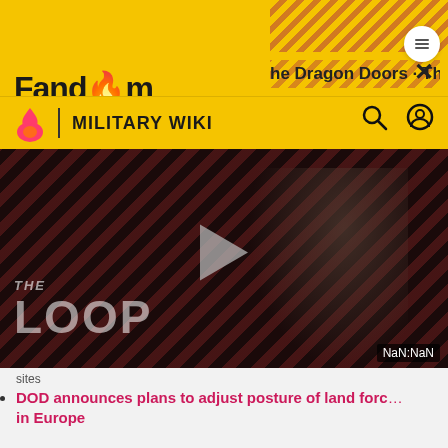Fandom | MILITARY WIKI
[Figure (screenshot): Video player showing 'THE LOOP' with a play button in the center and a NaN:NaN timer in the bottom right. Dark background with diagonal red stripes and a person silhouette.]
DOD announces plans to adjust posture of land forces in Europe
http://www.usarmygermany.com/ – The US Army in Germany from Occupation Army to Keepers of the Peace